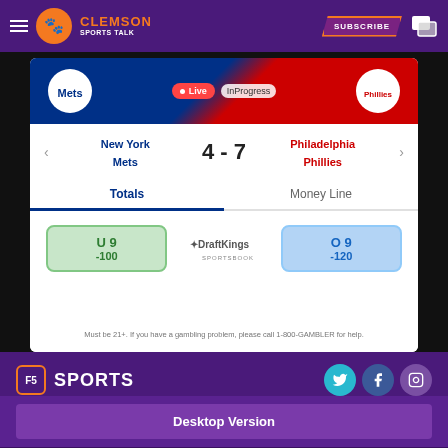Clemson Sports Talk — SUBSCRIBE
[Figure (screenshot): Sports betting odds card showing New York Mets vs Philadelphia Phillies, Live InProgress, score 4-7, Totals tab active, DraftKings Sportsbook odds: U9 -100 (under) and O9 -120 (over)]
Must be 21+. If you have a gambling problem, please call 1-800-GAMBLER for help.
[Figure (logo): F5 Sports logo]
Desktop Version
Clemson Sports Talk is an independent site and is not affiliated with Clemson University. ©2022 Clemson Sports Talk. All rights reserved.